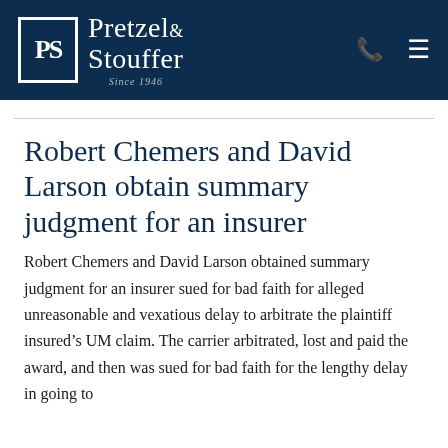[Figure (logo): Pretzel & Stouffer law firm logo with white text on dark navy blue header background, showing PS monogram in a box, firm name, Since 1946 tagline, phone icon and hamburger menu icon]
Robert Chemers and David Larson obtain summary judgment for an insurer
Robert Chemers and David Larson obtained summary judgment for an insurer sued for bad faith for alleged unreasonable and vexatious delay to arbitrate the plaintiff insured's UM claim. The carrier arbitrated, lost and paid the award, and then was sued for bad faith for the lengthy delay in going to